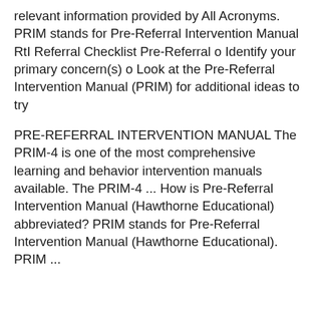relevant information provided by All Acronyms. PRIM stands for Pre-Referral Intervention Manual RtI Referral Checklist Pre-Referral o Identify your primary concern(s) o Look at the Pre-Referral Intervention Manual (PRIM) for additional ideas to try
PRE-REFERRAL INTERVENTION MANUAL The PRIM-4 is one of the most comprehensive learning and behavior intervention manuals available. The PRIM-4 ... How is Pre-Referral Intervention Manual (Hawthorne Educational) abbreviated? PRIM stands for Pre-Referral Intervention Manual (Hawthorne Educational). PRIM ...